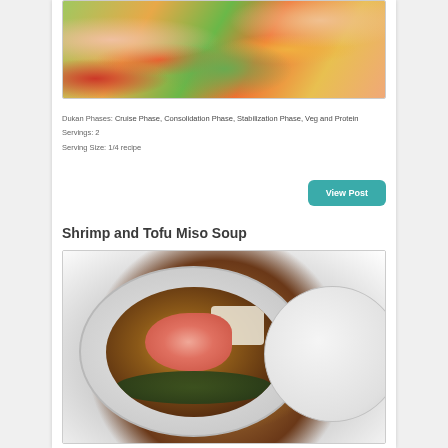[Figure (photo): Close-up photo of shrimp stir fry with colorful vegetables including green beans, yellow and red peppers, and shrimp]
Dukan Phases: Cruise Phase, Consolidation Phase, Stabilization Phase, Veg and Protein
Servings: 2
Serving Size: 1/4 recipe
View Post
Shrimp and Tofu Miso Soup
[Figure (photo): White bowl of miso soup with shrimp, tofu, and dark greens, served on a white plate with a side saucer]